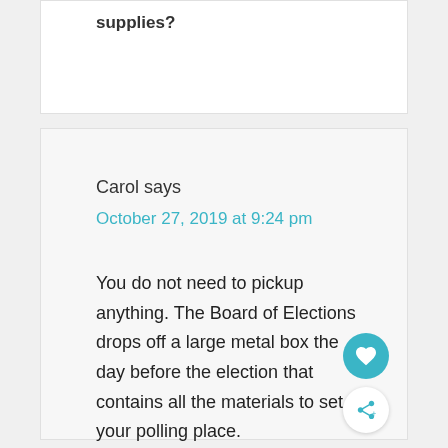supplies?
Carol says
October 27, 2019 at 9:24 pm
You do not need to pickup anything. The Board of Elections drops off a large metal box the day before the election that contains all the materials to set up your polling place.